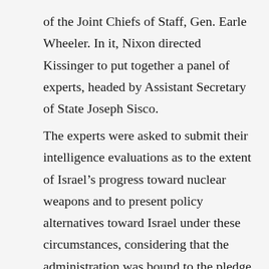of the Joint Chiefs of Staff, Gen. Earle Wheeler. In it, Nixon directed Kissinger to put together a panel of experts, headed by Assistant Secretary of State Joseph Sisco.
The experts were asked to submit their intelligence evaluations as to the extent of Israel's progress toward nuclear weapons and to present policy alternatives toward Israel under these circumstances, considering that the administration was bound to the pledge of the Johnson administration to provide Israel with 50 Phantom jets, the diplomatic process underway through Rogers, and the aspiration to achieve, within the year, global nonproliferation – all while, simultaneously, Israel was facing off against Egypt on the Suez Canal